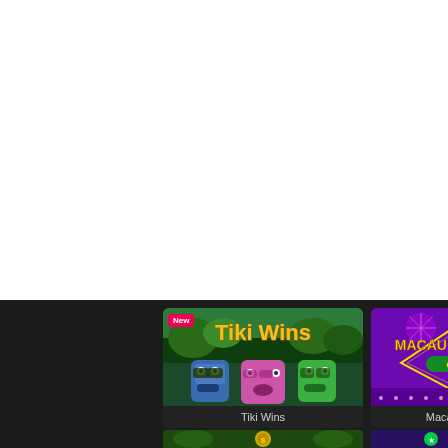[Figure (screenshot): Online casino game lobby screenshot showing a dark-themed grid of slot game cards. Top portion is white/blank. Bottom portion shows dark background with game cards including 'Tiki Wins' (tropical themed slot with tiki masks, marked 'New'), 'Macau High Roller Cash Link' (purple neon casino theme), a partially visible third card on the right, and a partial row of game thumbnails at the very bottom.]